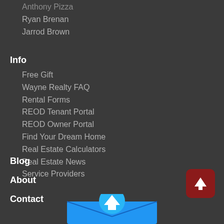Anthony Pizza
Ryan Brenan
Jarrod Brown
Info
Free Gift
Wayne Realty FAQ
Rental Forms
REOD Tenant Portal
REOD Owner Portal
Find Your Dream Home
Real Estate Calculators
Real Estate News
Service Providers
Blog
About
Contact
[Figure (illustration): Red rounded square button with white upward arrow, used as scroll-to-top button]
[Figure (logo): Blue envelope with blue circular arrow icon at bottom center of page]